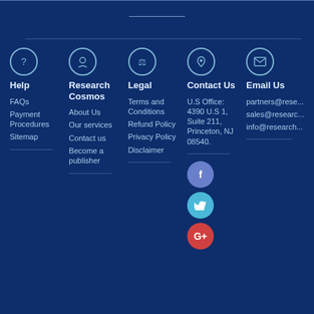Footer navigation with columns: Help, Research Cosmos, Legal, Contact Us, Email Us
Help - FAQs, Payment Procedures, Sitemap
Research Cosmos - About Us, Our services, Contact us, Become a publisher
Legal - Terms and Conditions, Refund Policy, Privacy Policy, Disclaimer
Contact Us - U.S Office: 4390 U.S 1, Suite 211, Princeton, NJ 08540.
Email Us - partners@rese... sales@researc... info@research...
[Figure (illustration): Social media icons: Facebook (purple circle), Twitter (light blue circle), Google+ (red circle)]